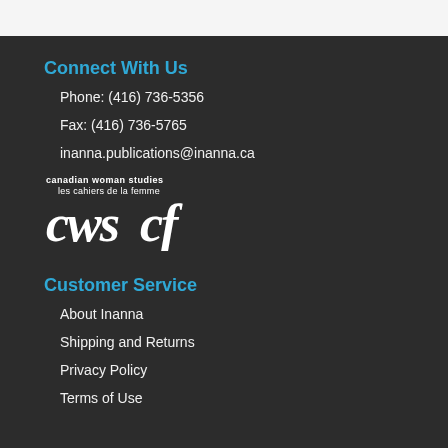Connect With Us
Phone: (416) 736-5356
Fax: (416) 736-5765
inanna.publications@inanna.ca
[Figure (logo): Canadian Woman Studies / les cahiers de la femme (cws cf) logo in white on dark background]
Customer Service
About Inanna
Shipping and Returns
Privacy Policy
Terms of Use